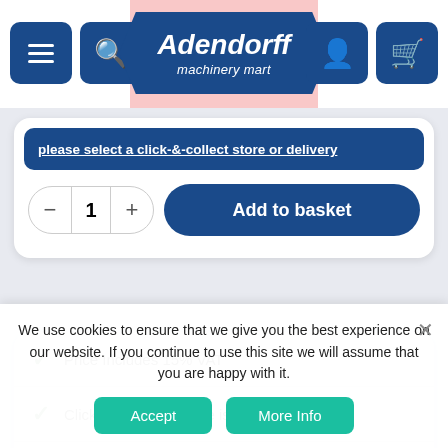[Figure (screenshot): Adendorff Machinery Mart website header with navigation icons and logo]
please select a click-&-collect store or delivery
- 1 + Add to basket
Price Includes 15% VAT
Click & Collect Service is Free
4 - 6 Days Delivery Available
We use cookies to ensure that we give you the best experience on our website. If you continue to use this site we will assume that you are happy with it.
Accept   More Info